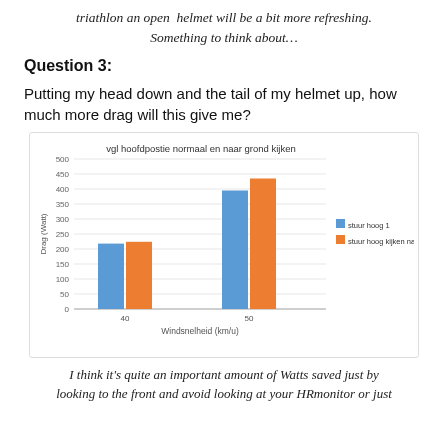triathlon an open helmet will be a bit more refreshing. Something to think about…
Question 3:
Putting my head down and the tail of my helmet up, how much more drag will this give me?
[Figure (grouped-bar-chart): vgl hoofdpostie normaal en naar grond kijken]
I think it's quite an important amount of Watts saved just by looking to the front and avoid looking at your HRmonitor or just